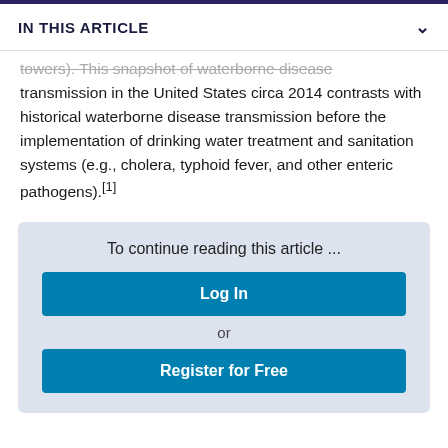IN THIS ARTICLE
towers). This snapshot of waterborne disease transmission in the United States circa 2014 contrasts with historical waterborne disease transmission before the implementation of drinking water treatment and sanitation systems (e.g., cholera, typhoid fever, and other enteric pathogens).[1]
To continue reading this article ...
Log In
or
Register for Free
Abstract and Introduction